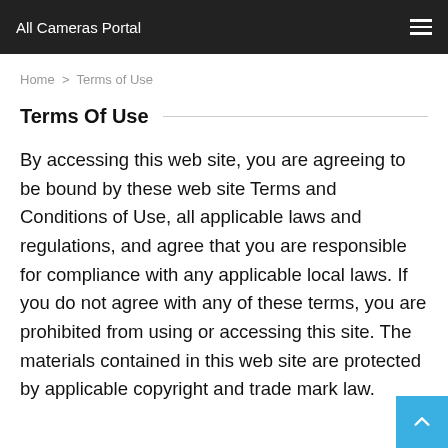All Cameras Portal
Home > Terms of Use
Terms Of Use
By accessing this web site, you are agreeing to be bound by these web site Terms and Conditions of Use, all applicable laws and regulations, and agree that you are responsible for compliance with any applicable local laws. If you do not agree with any of these terms, you are prohibited from using or accessing this site. The materials contained in this web site are protected by applicable copyright and trade mark law.